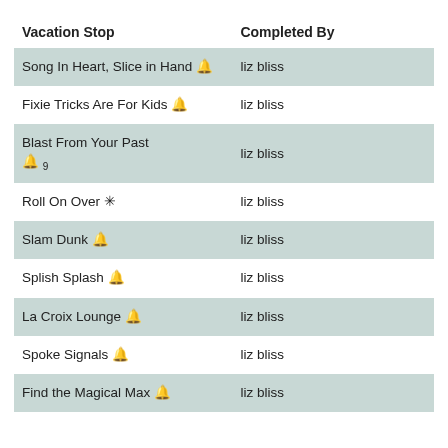| Vacation Stop | Completed By |
| --- | --- |
| Song In Heart, Slice in Hand 🔔 | liz bliss |
| Fixie Tricks Are For Kids 🔔 | liz bliss |
| Blast From Your Past 🔔 9 | liz bliss |
| Roll On Over ❋ | liz bliss |
| Slam Dunk 🔔 | liz bliss |
| Splish Splash 🔔 | liz bliss |
| La Croix Lounge 🔔 | liz bliss |
| Spoke Signals 🔔 | liz bliss |
| Find the Magical Max 🔔 | liz bliss |